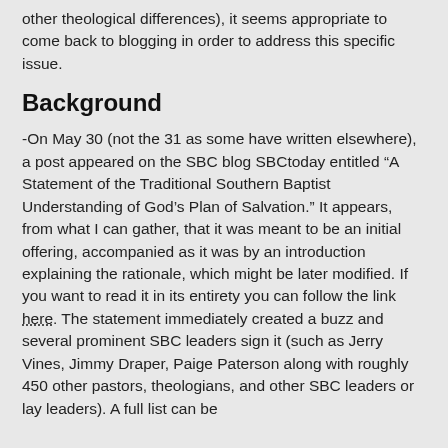other theological differences), it seems appropriate to come back to blogging in order to address this specific issue.
Background
-On May 30 (not the 31 as some have written elsewhere), a post appeared on the SBC blog SBCtoday entitled “A Statement of the Traditional Southern Baptist Understanding of God’s Plan of Salvation.” It appears, from what I can gather, that it was meant to be an initial offering, accompanied as it was by an introduction explaining the rationale, which might be later modified. If you want to read it in its entirety you can follow the link here. The statement immediately created a buzz and several prominent SBC leaders sign it (such as Jerry Vines, Jimmy Draper, Paige Paterson along with roughly 450 other pastors, theologians, and other SBC leaders or lay leaders). A full list can be